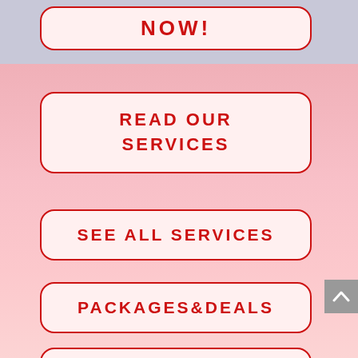NOW!
READ OUR SERVICES
SEE ALL SERVICES
PACKAGES&DEALS
CONTACT US